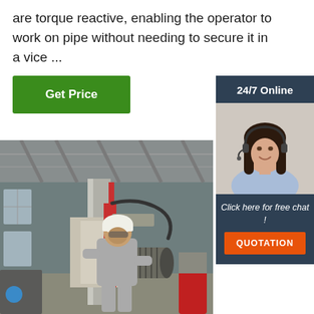are torque reactive, enabling the operator to work on pipe without needing to secure it in a vice ...
Get Price
24/7 Online
[Figure (photo): Woman with headset smiling, customer service agent]
Click here for free chat !
QUOTATION
[Figure (photo): Industrial worker in hard hat and grey uniform operating large pipe threading or machining equipment inside a factory/warehouse]